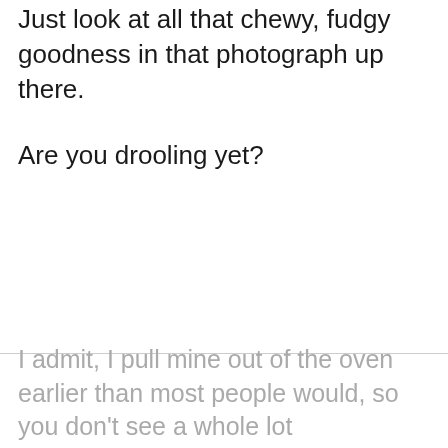Just look at all that chewy, fudgy goodness in that photograph up there.
Are you drooling yet?
I admit, I pull mine out of the oven earlier than most people would, so you don't see a whole lot